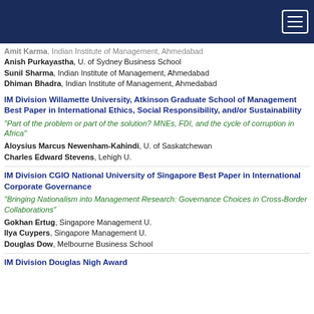Navigation bar with hamburger menu
Amit Karma, Indian Institute of Management, Ahmedabad
Anish Purkayastha, U. of Sydney Business School
Sunil Sharma, Indian Institute of Management, Ahmedabad
Dhiman Bhadra, Indian Institute of Management, Ahmedabad
IM Division Willamette University, Atkinson Graduate School of Management Best Paper in International Ethics, Social Responsibility, and/or Sustainability
“Part of the problem or part of the solution? MNEs, FDI, and the cycle of corruption in Africa”
Aloysius Marcus Newenham-Kahindi, U. of Saskatchewan
Charles Edward Stevens, Lehigh U.
IM Division CGIO National University of Singapore Best Paper in International Corporate Governance
“Bringing Nationalism into Management Research: Governance Choices in Cross-Border Collaborations”
Gokhan Ertug, Singapore Management U.
Ilya Cuypers, Singapore Management U.
Douglas Dow, Melbourne Business School
IM Division Douglas Nigh Award